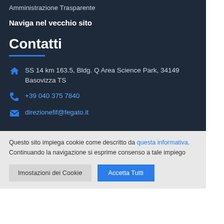Amministrazione Trasparente
Naviga nel vecchio sito
Contatti
SS 14 km 163.5, Bldg. Q Area Science Park, 34149 Basovizza TS
+39 040 375 7840
direzionefif@fegato.it
Questo sito impiega cookie come descritto da questa informativa. Continuando la navigazione si esprime consenso a tale impiego
Impostazioni dei Cookie
Accetta Tutti